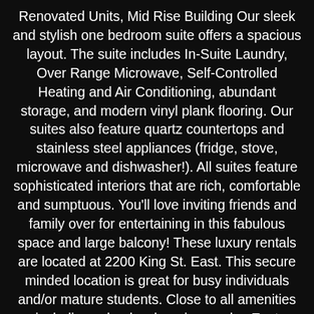Renovated Units, Mid Rise Building Our sleek and stylish one bedroom suite offers a spacious layout. The suite includes In-Suite Laundry, Over Range Microwave, Self-Controlled Heating and Air Conditioning, abundant storage, and modern vinyl plank flooring. Our suites also feature quartz countertops and stainless steel appliances (fridge, stove, microwave and dishwasher!). All suites feature sophisticated interiors that are rich, comfortable and sumptuous. You'll love inviting friends and family over for entertaining in this fabulous space and large balcony! These luxury rentals are located at 2200 King St. East. This secure minded location is great for busy individuals and/or mature students. Close to all amenities including schools, shopping, parks. East downtown